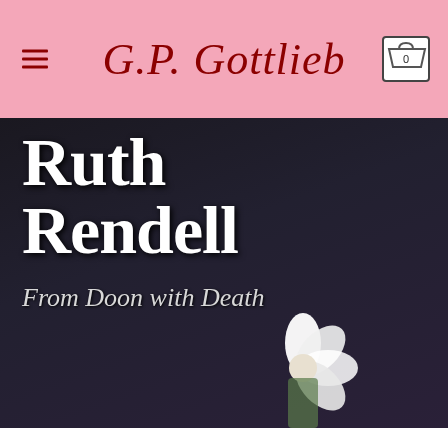G.P. Gottlieb
[Figure (photo): Book cover for Ruth Rendell 'From Doon with Death' — dark background with large white text showing author name and book title, with a white flower in the lower right portion]
1930-2015 Baroness Rendell of Babergh, CBE, was an English author of thrillers and psychological murder mysteries. She is best known for creating Chief Inspector...
VIEW MORE
NEW BOOKS NETWORK